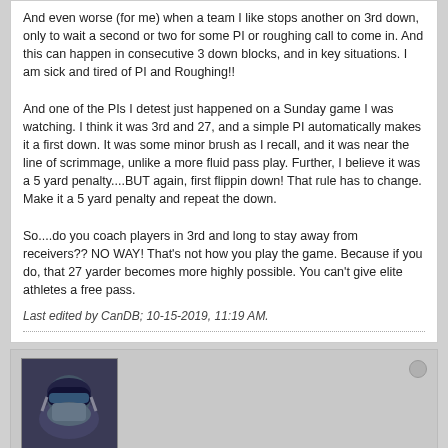And even worse (for me) when a team I like stops another on 3rd down, only to wait a second or two for some PI or roughing call to come in. And this can happen in consecutive 3 down blocks, and in key situations. I am sick and tired of PI and Roughing!! And one of the PIs I detest just happened on a Sunday game I was watching. I think it was 3rd and 27, and a simple PI automatically makes it a first down. It was some minor brush as I recall, and it was near the line of scrimmage, unlike a more fluid pass play. Further, I believe it was a 5 yard penalty....BUT again, first flippin down! That rule has to change. Make it a 5 yard penalty and repeat the down. So....do you coach players in 3rd and long to stay away from receivers?? NO WAY! That's not how you play the game. Because if you do, that 27 yarder becomes more highly possible. You can't give elite athletes a free pass.
Last edited by CanDB; 10-15-2019, 11:19 AM.
[Figure (photo): Avatar photo of user bronx_2003, showing a football player in a dark helmet]
bronx_2003
Banned User